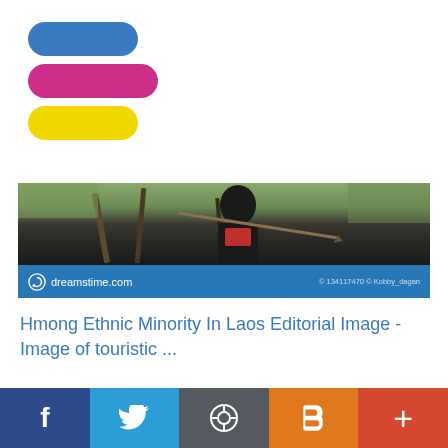[Figure (logo): Three stacked pills: blue, pink/magenta, and yellow — a logo mark]
[Figure (photo): Dreamstime.com stock photo banner showing a person in traditional Hmong clothing holding sticks/arrows, with dreamstime.com watermark and credit '© 134117470 © Kobby_dagan']
Hmong Ethnic Minority In Laos Editorial Image - Image of touristic ...
source: thumbs.dreamstime.com
[Figure (infographic): Social sharing footer bar with 5 buttons: Facebook (dark blue), Twitter (light blue), WordPress (grey), Blogger (orange), Plus/more (red-orange)]